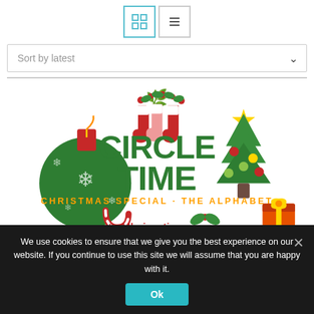[Figure (screenshot): Toolbar with grid view icon (active, teal border) and list view icon]
[Figure (screenshot): Sort by latest dropdown bar]
[Figure (illustration): Christmas Circle Time - The Alphabet product image from toddlerinaction.com, showing Christmas ornament ball, stockings, Christmas tree, candy cane, holly, gift box, and text CIRCLE TIME CHRISTMAS SPECIAL - THE ALPHABET]
We use cookies to ensure that we give you the best experience on our website. If you continue to use this site we will assume that you are happy with it.
[Figure (screenshot): Ok button on cookie consent banner]